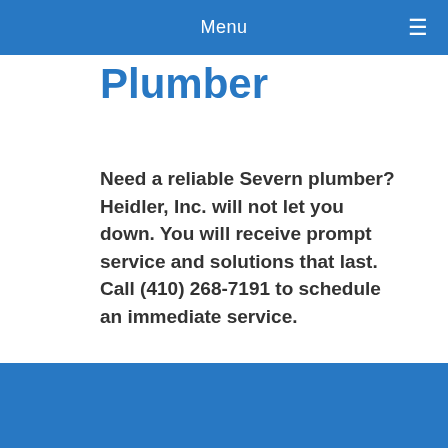Menu
Plumber
Need a reliable Severn plumber? Heidler, Inc. will not let you down. You will receive prompt service and solutions that last. Call (410) 268-7191 to schedule an immediate service.